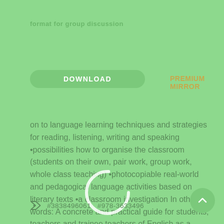Format For group discussion
[Figure (other): Green DOWNLOAD button and PREMIUM MIRROR link]
on to language learning techniques and strategies for reading, listening, writing and speaking •possibilities how to organise the classroom (students on their own, pair work, group work, whole class teaching) •photocopiable real-world and pedagogical language activities based on literary texts •a classroom investigation In other words: A concrete and practical guide for students, teachers and trainee teachers of English as a second language.
[Figure (other): Loading spinner circle overlay]
#3838496061  #978-3633496